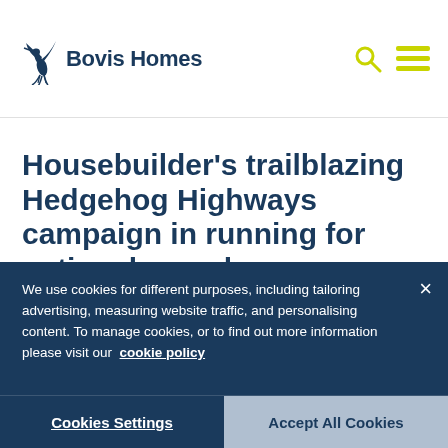Bovis Homes
Housebuilder's trailblazing Hedgehog Highways campaign in running for national award
24 Sep 2020
We use cookies for different purposes, including tailoring advertising, measuring website traffic, and personalising content. To manage cookies, or to find out more information please visit our cookie policy
Cookies Settings
Accept All Cookies